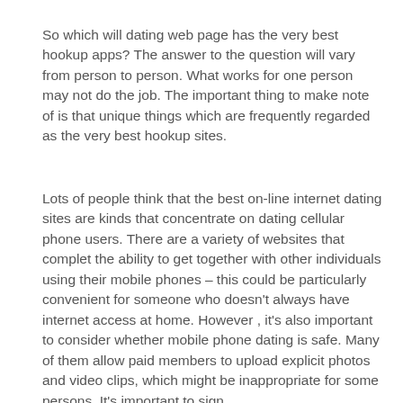So which will dating web page has the very best hookup apps? The answer to the question will vary from person to person. What works for one person may not do the job. The important thing to make note of is that unique things which are frequently regarded as the very best hookup sites.
Lots of people think that the best on-line internet dating sites are kinds that concentrate on dating cellular phone users. There are a variety of websites that complet the ability to get together with other individuals using their mobile phones – this could be particularly convenient for someone who doesn't always have internet access at home. However , it's also important to consider whether mobile phone dating is safe. Many of them allow paid members to upload explicit photos and video clips, which might be inappropriate for some persons. It's important to sign